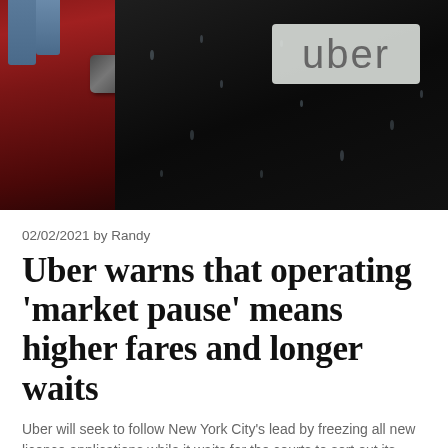[Figure (photo): Close-up photo of a wet dark car surface with raindrops, showing an Uber logo sticker (white rectangle with grey 'uber' text) in the upper right. A red car body and side mirror are visible on the left. A person's legs in jeans are partially visible at the top left.]
02/02/2021 by Randy
Uber warns that operating 'market pause' means higher fares and longer waits
Uber will seek to follow New York City's lead by freezing all new licence applications while it waits for the courts to sort out its dispute with the Ontario provincial government Uber has warned...